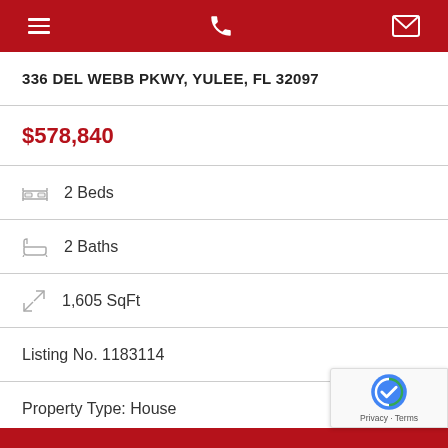Navigation header with menu, phone, and mail icons
336 DEL WEBB PKWY, YULEE, FL 32097
$578,840
2 Beds
2 Baths
1,605 SqFt
Listing No. 1183114
Property Type: House
(3) photos